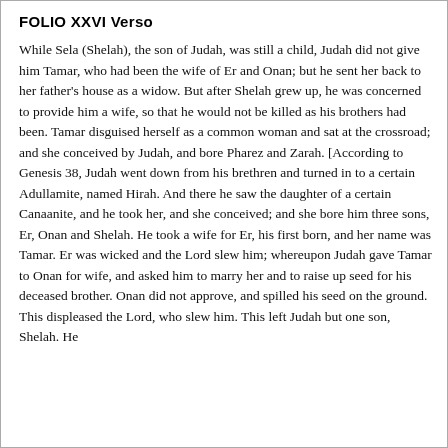FOLIO XXVI Verso
While Sela (Shelah), the son of Judah, was still a child, Judah did not give him Tamar, who had been the wife of Er and Onan; but he sent her back to her father's house as a widow. But after Shelah grew up, he was concerned to provide him a wife, so that he would not be killed as his brothers had been. Tamar disguised herself as a common woman and sat at the crossroad; and she conceived by Judah, and bore Pharez and Zarah. [According to Genesis 38, Judah went down from his brethren and turned in to a certain Adullamite, named Hirah. And there he saw the daughter of a certain Canaanite, and he took her, and she conceived; and she bore him three sons, Er, Onan and Shelah. He took a wife for Er, his first born, and her name was Tamar. Er was wicked and the Lord slew him; whereupon Judah gave Tamar to Onan for wife, and asked him to marry her and to raise up seed for his deceased brother. Onan did not approve, and spilled his seed on the ground. This displeased the Lord, who slew him. This left Judah but one son, Shelah. He